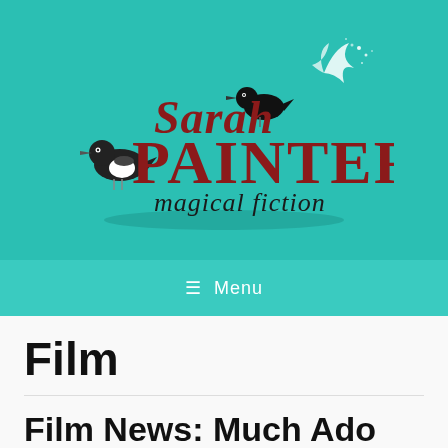[Figure (logo): Sarah Painter magical fiction logo on teal background with two birds and sparkle design]
≡ Menu
Film
Film News: Much Ado About Nothing